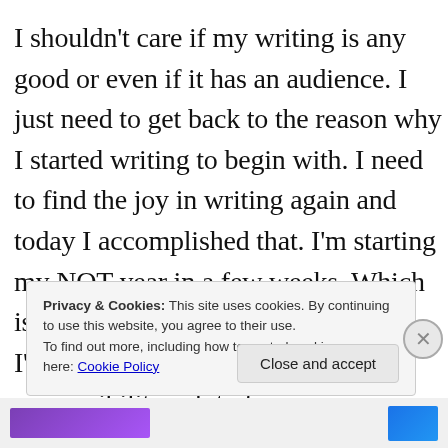I shouldn't care if my writing is any good or even if it has an audience. I just need to get back to the reason why I started writing to begin with. I need to find the joy in writing again and today I accomplished that. I'm starting my NQT year in a few weeks. Which is the first year of primary teaching. I'll have my own class, a lot of responsibility, a lot of
Privacy & Cookies: This site uses cookies. By continuing to use this website, you agree to their use. To find out more, including how to control cookies, see here: Cookie Policy
Close and accept